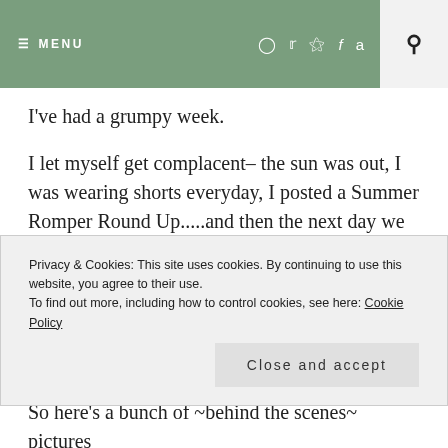≡ MENU  [instagram] [twitter] [pinterest] [facebook] [amazon]  [search]
I've had a grumpy week.
I let myself get complacent– the sun was out, I was wearing shorts everyday, I posted a Summer Romper Round Up.....and then the next day we lost it all. Rain. Wind. Grey. Ughhhhh
All the happy fun weather was gone and I sat inside grumpily redoing all my plans for going out and for blog
Privacy & Cookies: This site uses cookies. By continuing to use this website, you agree to their use.
To find out more, including how to control cookies, see here: Cookie Policy
Close and accept
So here's a bunch of ~behind the scenes~ pictures